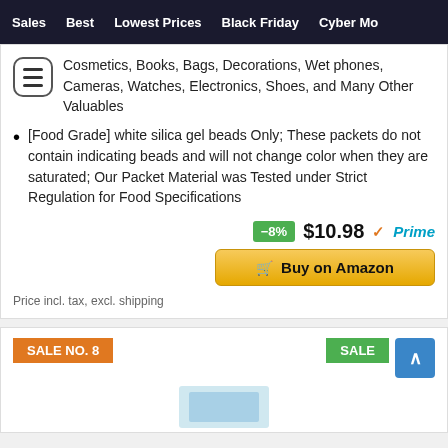Sales   Best   Lowest Prices   Black Friday   Cyber Mo
Cosmetics, Books, Bags, Decorations, Wet phones, Cameras, Watches, Electronics, Shoes, and Many Other Valuables
[Food Grade] white silica gel beads Only; These packets do not contain indicating beads and will not change color when they are saturated; Our Packet Material was Tested under Strict Regulation for Food Specifications
-8%  $10.98  Prime
Buy on Amazon
Price incl. tax, excl. shipping
SALE NO. 8
SALE